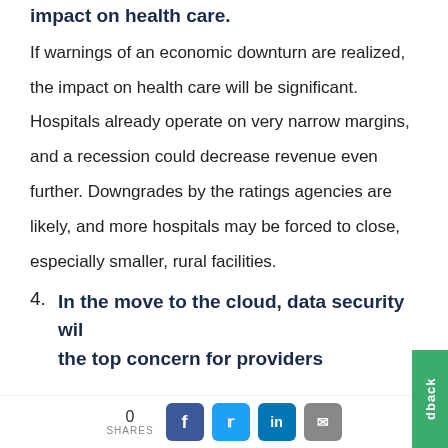impact on health care.
If warnings of an economic downturn are realized, the impact on health care will be significant. Hospitals already operate on very narrow margins, and a recession could decrease revenue even further. Downgrades by the ratings agencies are likely, and more hospitals may be forced to close, especially smaller, rural facilities.
4. In the move to the cloud, data security will be the top concern for providers